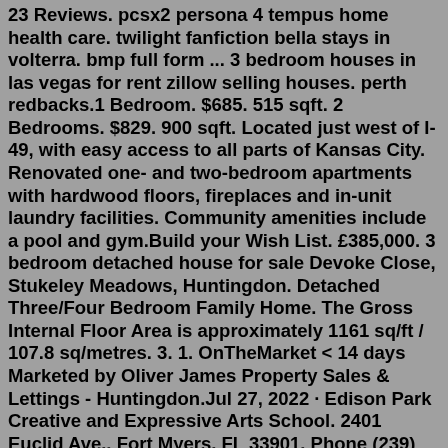23 Reviews. pcsx2 persona 4 tempus home health care. twilight fanfiction bella stays in volterra. bmp full form ... 3 bedroom houses in las vegas for rent zillow selling houses. perth redbacks.1 Bedroom. $685. 515 sqft. 2 Bedrooms. $829. 900 sqft. Located just west of I-49, with easy access to all parts of Kansas City. Renovated one- and two-bedroom apartments with hardwood floors, fireplaces and in-unit laundry facilities. Community amenities include a pool and gym.Build your Wish List. £385,000. 3 bedroom detached house for sale Devoke Close, Stukeley Meadows, Huntingdon. Detached Three/Four Bedroom Family Home. The Gross Internal Floor Area is approximately 1161 sq/ft / 107.8 sq/metres. 3. 1. OnTheMarket < 14 days Marketed by Oliver James Property Sales & Lettings - Huntingdon.Jul 27, 2022 · Edison Park Creative and Expressive Arts School. 2401 Euclid Ave., Fort Myers, FL 33901. Phone (239) 334-6232 | Fax (239) 332-3474. Home. Our School. Our District. Our Students. Our Families. Our Community. This 4 bedroom house in